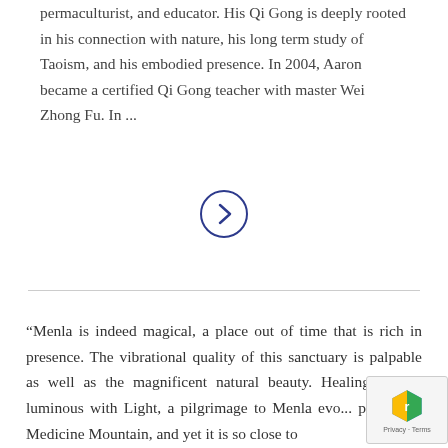permaculturist, and educator. His Qi Gong is deeply rooted in his connection with nature, his long term study of Taoism, and his embodied presence. In 2004, Aaron became a certified Qi Gong teacher with master Wei Zhong Fu. In ...
[Figure (other): A circular arrow button (chevron right icon) in dark blue outline, indicating a navigation or 'next' action.]
“Menla is indeed magical, a place out of time that is rich in presence. The vibrational quality of this sanctuary is palpable as well as the magnificent natural beauty. Healing, peace, luminous with Light, a pilgrimage to Menla evo... proverbial Medicine Mountain, and yet it is so close to...